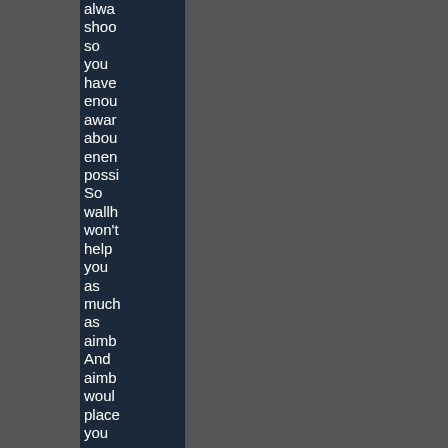always shoot so you have enough awareness about enemy positions. So wallhacks won't help you as much as aimbots. And aimbots would place you on completely different level. With aimbo